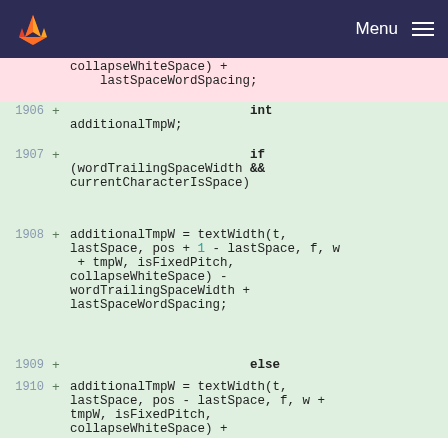GitLab navigation — Menu
collapseWhiteSpace) +
    lastSpaceWordSpacing;
1906 + int additionalTmpW;
1907 + if (wordTrailingSpaceWidth && currentCharacterIsSpace)
1908 + additionalTmpW = textWidth(t, lastSpace, pos + 1 - lastSpace, f, w + tmpW, isFixedPitch, collapseWhiteSpace) - wordTrailingSpaceWidth + lastSpaceWordSpacing;
1909 + else
1910 + additionalTmpW = textWidth(t, lastSpace, pos - lastSpace, f, w + tmpW, isFixedPitch, collapseWhiteSpace) +